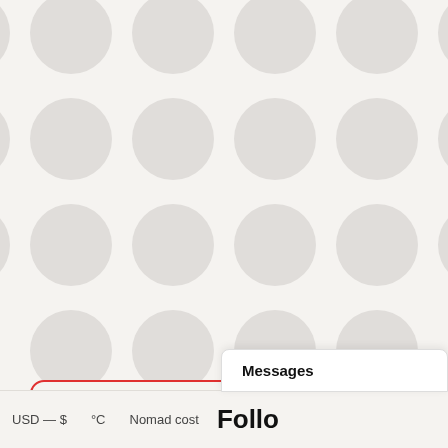[Figure (infographic): Grid of circular avatar placeholders (grey circles) arranged in rows representing 794 people. Row 1 has 6 circles, row 2 has 6 circles, row 3 has 6 circles, row 4 has 4 circles partially visible.]
Expand all 794 people
USD — $  °C  Nomad cost  Follo  Messages